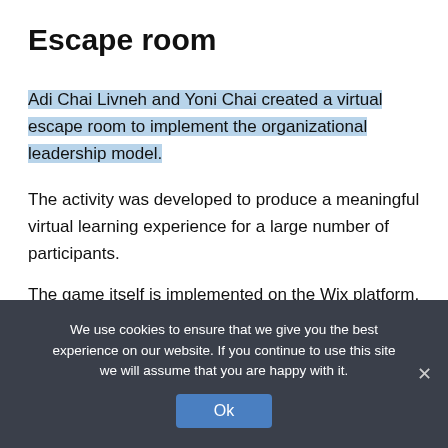Escape room
Adi Chai Livneh and Yoni Chai created a virtual escape room to implement the organizational leadership model.
The activity was developed to produce a meaningful virtual learning experience for a large number of participants.
The game itself is implemented on the Wix platform, and although this platform isn't designed to create escape rooms, it does allow for play and learning experiences.
We use cookies to ensure that we give you the best experience on our website. If you continue to use this site we will assume that you are happy with it.